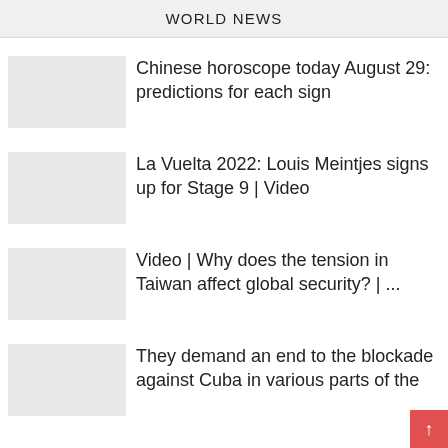WORLD NEWS
Chinese horoscope today August 29: predictions for each sign
La Vuelta 2022: Louis Meintjes signs up for Stage 9 | Video
Video | Why does the tension in Taiwan affect global security? | ...
They demand an end to the blockade against Cuba in various parts of the